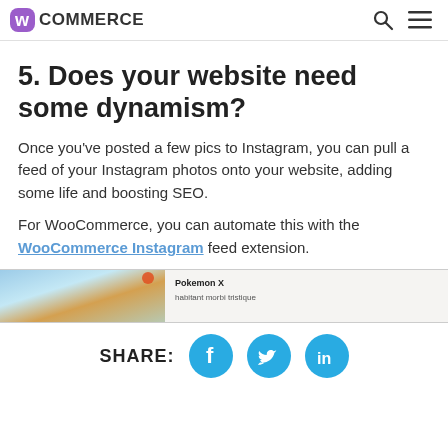WooCommerce [logo] [search icon] [menu icon]
5. Does your website need some dynamism?
Once you've posted a few pics to Instagram, you can pull a feed of your Instagram photos onto your website, adding some life and boosting SEO.
For WooCommerce, you can automate this with the WooCommerce Instagram feed extension.
[Figure (screenshot): Partial screenshot of a webpage showing a colorful image on the left and text 'Pokemon X' with 'habitant morbi tristique' on the right]
SHARE: [Facebook icon] [Twitter icon] [LinkedIn icon]